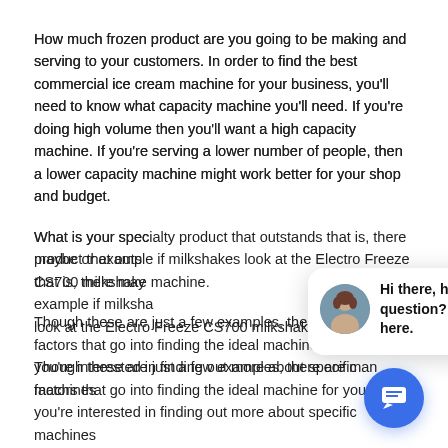How much frozen product are you going to be making and serving to your customers. In order to find the best commercial ice cream machine for your business, you'll need to know what capacity machine you'll need. If you're doing high volume then you'll want a high capacity machine. If you're serving a lower number of people, then a lower capacity machine might work better for your shop and budget.
What is your spec[ialty]... product that outs[tands]... that is, there may ... or example if milksha[kes]... look at the Electro Freeze CS700 milkshake machine.
Though these are just a few examples, there are man[y] factors that go into finding the ideal machine for your sh[op.] you're interested in finding out more about specific machines...
[Figure (screenshot): Chat popup widget showing a female avatar photo and the text 'Hi there, have a question? Text us here.' with a close button, a speech bubble tail, and a blue circular chat icon button below.]